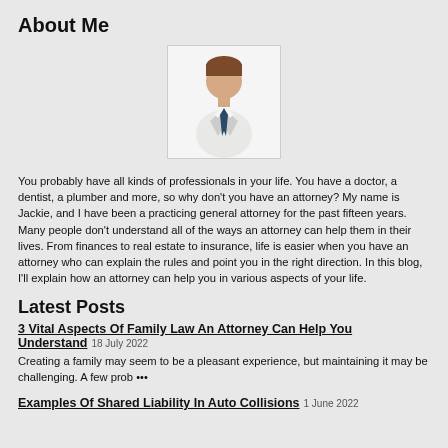About Me
[Figure (illustration): Generic male professional avatar with brown hair wearing a suit and tie, white background with light border]
You probably have all kinds of professionals in your life. You have a doctor, a dentist, a plumber and more, so why don't you have an attorney? My name is Jackie, and I have been a practicing general attorney for the past fifteen years. Many people don't understand all of the ways an attorney can help them in their lives. From finances to real estate to insurance, life is easier when you have an attorney who can explain the rules and point you in the right direction. In this blog, I'll explain how an attorney can help you in various aspects of your life.
Latest Posts
3 Vital Aspects Of Family Law An Attorney Can Help You Understand  18 July 2022
Creating a family may seem to be a pleasant experience, but maintaining it may be challenging. A few prob •••
Examples Of Shared Liability In Auto Collisions  1 June 2022